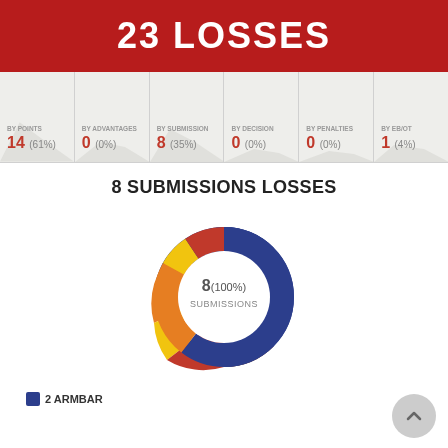23 LOSSES
| BY POINTS | BY ADVANTAGES | BY SUBMISSION | BY DECISION | BY PENALTIES | BY EB/OT |
| --- | --- | --- | --- | --- | --- |
| 14 (61%) | 0 (0%) | 8 (35%) | 0 (0%) | 0 (0%) | 1 (4%) |
8 SUBMISSIONS LOSSES
[Figure (donut-chart): Donut chart showing 8 submission losses breakdown with colored segments and center label '8(100%) SUBMISSIONS']
2 ARMBAR